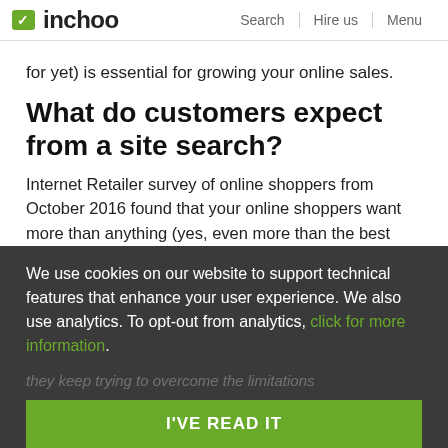Inchoo | Search | Hire us | Menu
for yet) is essential for growing your online sales.
What do customers expect from a site search?
Internet Retailer survey of online shoppers from October 2016 found that your online shoppers want more than anything (yes, even more than the best deal) is help in finding what they want to buy. More than 72% of them want a site that makes it easy for them to find
We use cookies on our website to support technical features that enhance your user experience. We also use analytics. To opt-out from analytics, click for more information.
I'VE READ IT